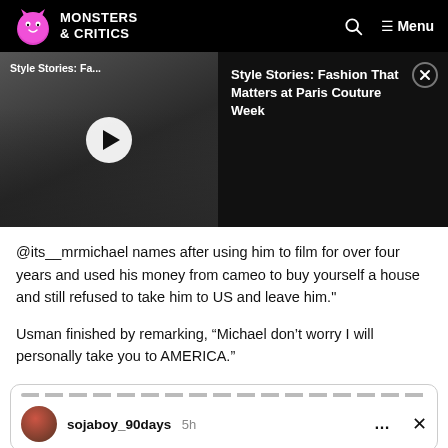MONSTERS & CRITICS
[Figure (screenshot): Video thumbnail showing 'Style Stories: Fa...' with a play button overlay, and beside it the title 'Style Stories: Fashion That Matters at Paris Couture Week' with a close button]
@its__mrmichael names after using him to film for over four years and used his money from cameo to buy yourself a house and still refused to take him to US and leave him."
Usman finished by remarking, “Michael don’t worry I will personally take you to AMERICA.”
[Figure (screenshot): Social media post preview showing user sojaboy_90days, posted 5h ago, with options dots and close X button]